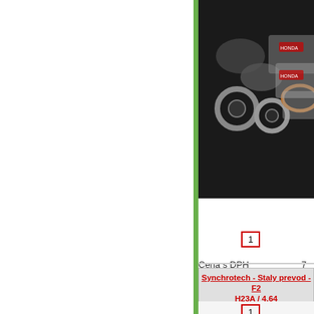[Figure (photo): Photo of Honda manual transmission bearing rebuild kit parts in plastic bags on dark background]
This lis Honda Manua Transm Bearin kit. The "OEM"
1
Cena s DPH
7
Synchrotech - Staly prevod - F2 H23A / 4.64
[Figure (photo): Photo of a ring gear and pinion shaft (final drive gear set) on white background]
Final driv kit is fully designed machine strength
1